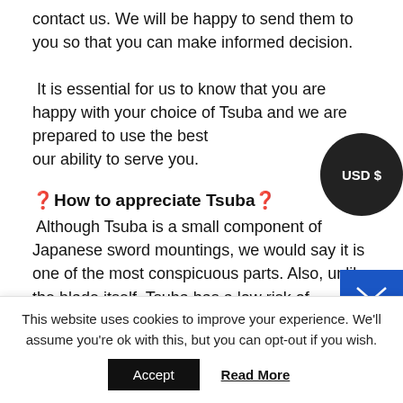contact us. We will be happy to send them to you so that you can make informed decision.
It is essential for us to know that you are happy with your choice of Tsuba and we are prepared to use the best of our ability to serve you.
❰How to appreciate Tsuba❱
Although Tsuba is a small component of Japanese sword mountings, we would say it is one of the most conspicuous parts. Also, unlike the blade itself, Tsuba has a low risk of handling. Furthermore, it does not require a large space for storage. Thus, Tsuba is relatively easy to collect. Here we would like to propose a few ways to enrich your T...
This website uses cookies to improve your experience. We'll assume you're ok with this, but you can opt-out if you wish.